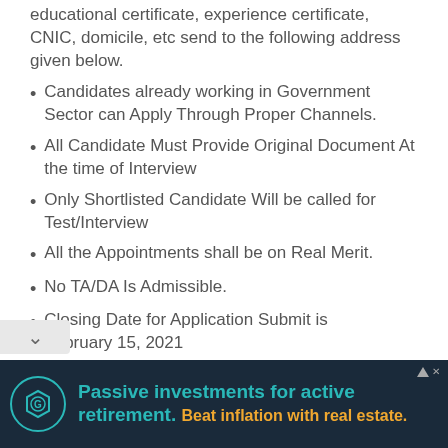educational certificate, experience certificate, CNIC, domicile, etc send to the following address given below.
Candidates already working in Government Sector can Apply Through Proper Channels.
All Candidate Must Provide Original Document At the time of Interview
Only Shortlisted Candidate Will be called for Test/Interview
All the Appointments shall be on Real Merit.
No TA/DA Is Admissible.
Closing Date for Application Submit is February 15, 2021
[Figure (infographic): Advertisement banner: Passive investments for active retirement. Beat inflation with real estate. Features a logo icon with teal circle border and hexagon symbol on dark navy background.]